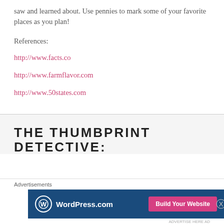saw and learned about. Use pennies to mark some of your favorite places as you plan!
References:
http://www.facts.co
http://www.farmflavor.com
http://www.50states.com
THE THUMBPRINT DETECTIVE:
[Figure (screenshot): WordPress.com advertisement banner with logo on left and 'Build Your Website' pink button on right, on dark blue background. Labeled 'Advertisements' above.]